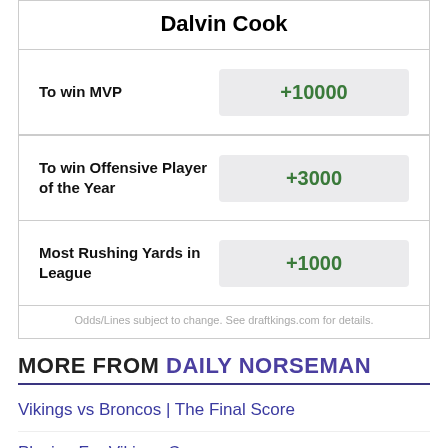Dalvin Cook
|  |  |
| --- | --- |
| To win MVP | +10000 |
| To win Offensive Player of the Year | +3000 |
| Most Rushing Yards in League | +1000 |
Odds/Lines subject to change. See draftkings.com for details.
MORE FROM DAILY NORSEMAN
Vikings vs Broncos | The Final Score
Playing For Vikings Careers
Minnesota Vikings 53-man roster projection
Kevin O'Connell says that Bisi Johnson's knee injury